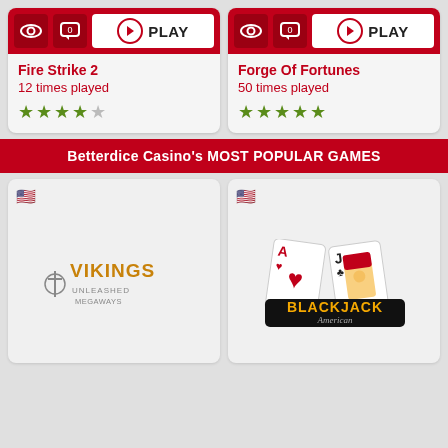[Figure (screenshot): Fire Strike 2 game card with red action bar showing eye icon, comment icon with 0, and PLAY button]
Fire Strike 2
12 times played
★★★★☆ (4 out of 5 stars)
[Figure (screenshot): Forge Of Fortunes game card with red action bar showing eye icon, comment icon with 0, and PLAY button]
Forge Of Fortunes
50 times played
★★★★★ (5 out of 5 stars)
Betterdice Casino's MOST POPULAR GAMES
[Figure (logo): Vikings Unleashed Megaways game logo with US flag icon]
[Figure (logo): Blackjack American game logo with playing cards (Ace of hearts, Jack of clubs) and US flag icon]